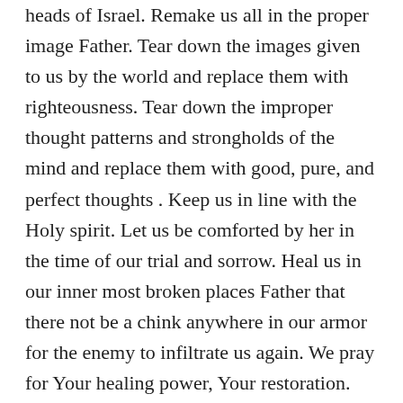heads of Israel. Remake us all in the proper image Father. Tear down the images given to us by the world and replace them with righteousness. Tear down the improper thought patterns and strongholds of the mind and replace them with good, pure, and perfect thoughts . Keep us in line with the Holy spirit. Let us be comforted by her in the time of our trial and sorrow. Heal us in our inner most broken places Father that there not be a chink anywhere in our armor for the enemy to infiltrate us again. We pray for Your healing power, Your restoration. You know our needs, You know our desires Father. They are Yours and we ask in assurance that all of our needs and desires are being [blocked]. We can only